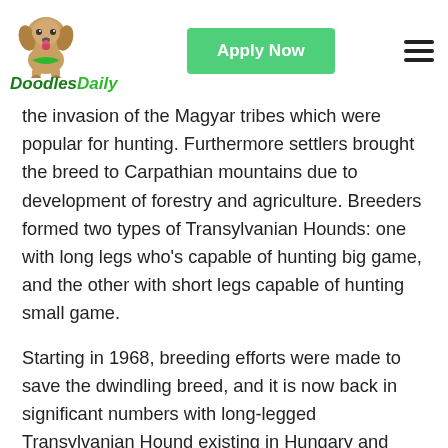Doodles Daily — Apply Now
the invasion of the Magyar tribes which were popular for hunting. Furthermore settlers brought the breed to Carpathian mountains due to development of forestry and agriculture. Breeders formed two types of Transylvanian Hounds: one with long legs who's capable of hunting big game, and the other with short legs capable of hunting small game.
Starting in 1968, breeding efforts were made to save the dwindling breed, and it is now back in significant numbers with long-legged Transylvanian Hound existing in Hungary and Romania. However, the short-legged Transylvanian Hound no longer exists. In 1963 the FCI recognized